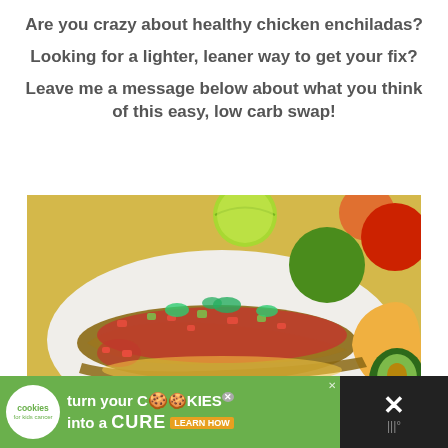Are you crazy about healthy chicken enchiladas?
Looking for a lighter, leaner way to get your fix?
Leave me a message below about what you think of this easy, low carb swap!
[Figure (photo): A plate of chicken enchiladas topped with salsa, avocado, tomato, and cilantro, with limes, tomatoes, and avocado halves in the background on a yellow wooden surface.]
[Figure (screenshot): Advertisement banner: Cookies for Kids Cancer — turn your COOKIES into a CURE LEARN HOW, with close button.]